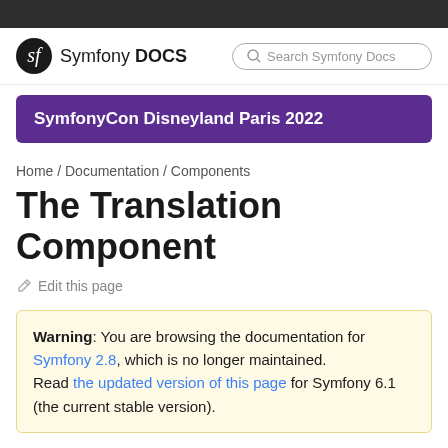Symfony DOCS
[Figure (other): Purple banner: SymfonyCon Disneyland Paris 2022]
Home / Documentation / Components
The Translation Component
Edit this page
Warning: You are browsing the documentation for Symfony 2.8, which is no longer maintained. Read the updated version of this page for Symfony 6.1 (the current stable version).